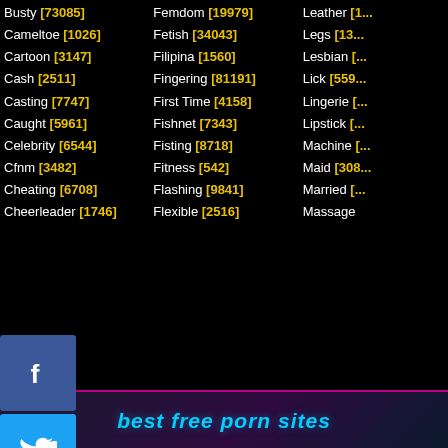Busty [73085] | Femdom [19979] | Leather [...]
Cameltoe [1026] | Fetish [34043] | Legs [13...]
Cartoon [3147] | Filipina [1560] | Lesbian [...]
Cash [2511] | Fingering [81191] | Lick [559...]
Casting [7747] | First Time [4158] | Lingerie [...]
Caught [5961] | Fishnet [7343] | Lipstick [...]
Celebrity [6544] | Fisting [8718] | Machine [...]
Cfnm [3482] | Fitness [542] | Maid [308...]
Cheating [6708] | Flashing [9841] | Married [...]
Cheerleader [1746] | Flexible [2516] | Massage [...]
[Figure (screenshot): Social media share buttons: Facebook, Twitter, Favorites, Add]
[Figure (screenshot): Banner reading: best free porn sites]
[Figure (photo): Two adult content thumbnail images side by side]